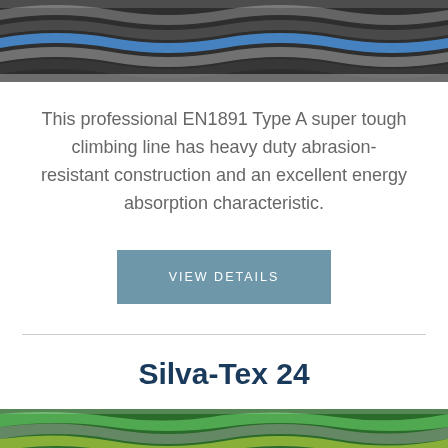[Figure (photo): Close-up photo of a braided climbing rope with black, gray, and blue strands]
This professional EN1891 Type A super tough climbing line has heavy duty abrasion-resistant construction and an excellent energy absorption characteristic.
VIEW DETAILS
Silva-Tex 24
[Figure (photo): Close-up photo of a braided climbing rope with green, gray, and yellow-green strands]